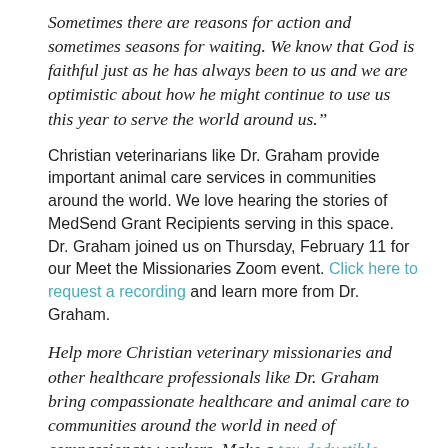Sometimes there are reasons for action and sometimes seasons for waiting. We know that God is faithful just as he has always been to us and we are optimistic about how he might continue to use us this year to serve the world around us."
Christian veterinarians like Dr. Graham provide important animal care services in communities around the world. We love hearing the stories of MedSend Grant Recipients serving in this space. Dr. Graham joined us on Thursday, February 11 for our Meet the Missionaries Zoom event. Click here to request a recording and learn more from Dr. Graham.
Help more Christian veterinary missionaries and other healthcare professionals like Dr. Graham bring compassionate healthcare and animal care to communities around the world in need of compassionate workers. Make a tax-deductible donation to MedSend today.